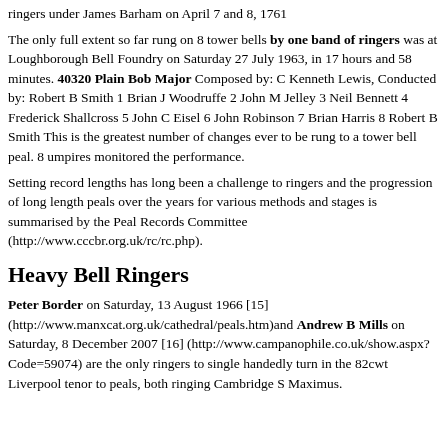ringers under James Barham on April 7 and 8, 1761
The only full extent so far rung on 8 tower bells by one band of ringers was at Loughborough Bell Foundry on Saturday 27 July 1963, in 17 hours and 58 minutes. 40320 Plain Bob Major Composed by: C Kenneth Lewis, Conducted by: Robert B Smith 1 Brian J Woodruffe 2 John M Jelley 3 Neil Bennett 4 Frederick Shallcross 5 John C Eisel 6 John Robinson 7 Brian Harris 8 Robert B Smith This is the greatest number of changes ever to be rung to a tower bell peal. 8 umpires monitored the performance.
Setting record lengths has long been a challenge to ringers and the progression of long length peals over the years for various methods and stages is summarised by the Peal Records Committee (http://www.cccbr.org.uk/rc/rc.php).
Heavy Bell Ringers
Peter Border on Saturday, 13 August 1966 [15] (http://www.manxcat.org.uk/cathedral/peals.htm)and Andrew B Mills on Saturday, 8 December 2007 [16] (http://www.campanophile.co.uk/show.aspx?Code=59074) are the only ringers to single handedly turn in the 82cwt Liverpool tenor to peals, both ringing Cambridge S Maximus.